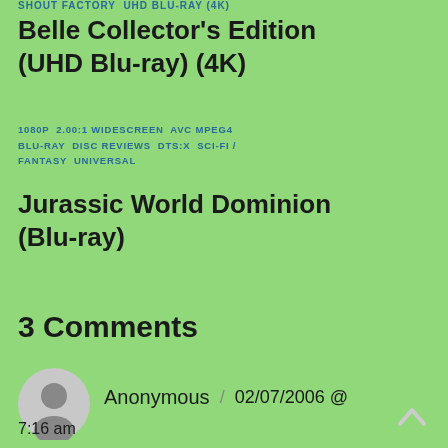SHOUT FACTORY  UHD BLU-RAY (4K)
Belle Collector's Edition (UHD Blu-ray) (4K)
1080P  2.00:1 WIDESCREEN  AVC MPEG4  BLU-RAY  DISC REVIEWS  DTS:X  SCI-FI / FANTASY  UNIVERSAL
Jurassic World Dominion (Blu-ray)
3 Comments
Anonymous | 02/07/2006 @ 7:16 am